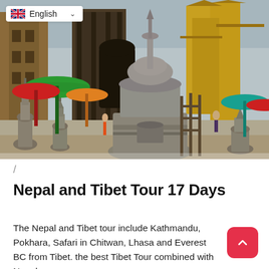[Figure (photo): Outdoor courtyard of a Nepalese/Tibetan Buddhist temple complex with ornate stone stupas and shrines in the foreground, decorated golden temple buildings in the background, colorful umbrellas (red, green, orange) on the left side, and a teal/red umbrella on the right. People visible in the background. Language selector bar overlay showing British flag and 'English' with dropdown chevron.]
/
Nepal and Tibet Tour 17 Days
The Nepal and Tibet tour include Kathmandu, Pokhara, Safari in Chitwan, Lhasa and Everest BC from Tibet. the best Tibet Tour combined with Nepal.